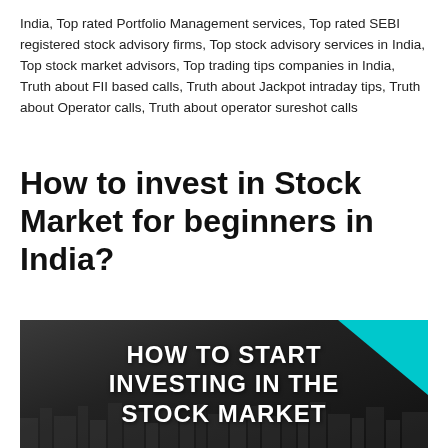India, Top rated Portfolio Management services, Top rated SEBI registered stock advisory firms, Top stock advisory services in India, Top stock market advisors, Top trading tips companies in India, Truth about FII based calls, Truth about Jackpot intraday tips, Truth about Operator calls, Truth about operator sureshot calls
How to invest in Stock Market for beginners in India?
[Figure (illustration): Infographic banner with dark cityscape background and cyan triangle accent in top-right corner. Large white bold text reads: HOW TO START INVESTING IN THE STOCK MARKET]